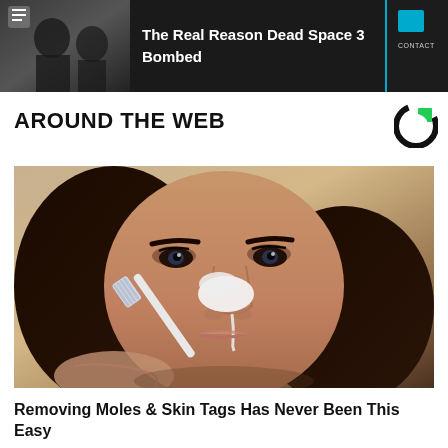[Figure (screenshot): Dark banner advertisement showing two male characters from Dead Space 3 video game with text 'The Real Reason Dead Space 3 Bombed' and a teal-bordered contact icon on the right]
AROUND THE WEB
[Figure (photo): Close-up photo of a dark-haired woman applying something white to her nose with a toothbrush or applicator tool, likely demonstrating a skin care or mole/skin tag removal method]
Removing Moles & Skin Tags Has Never Been This Easy